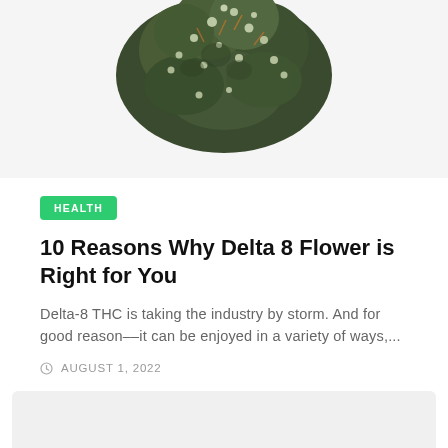[Figure (photo): Close-up photo of a cannabis bud (dark green with white trichomes) on a white background]
HEALTH
10 Reasons Why Delta 8 Flower is Right for You
Delta-8 THC is taking the industry by storm. And for good reason––it can be enjoyed in a variety of ways,...
AUGUST 1, 2022
[Figure (photo): Gray placeholder image card for a second article]